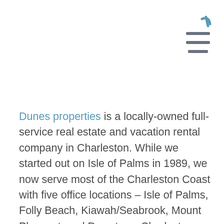[Figure (other): Hamburger menu icon with a decorative curved accent line above three horizontal grey bars in the top-right corner]
Dunes properties is a locally-owned full-service real estate and vacation rental company in Charleston. While we started out on Isle of Palms in 1989, we now serve most of the Charleston Coast with five office locations – Isle of Palms, Folly Beach, Kiawah/Seabrook, Mount Pleasant, and Downtown Charleston. Today, we represent the Lowcountry with over 80 exclusive beach vacation rental properties, more than 95 real estate agents